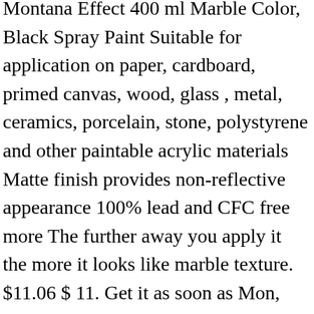Montana Effect 400 ml Marble Color, Black Spray Paint Suitable for application on paper, cardboard, primed canvas, wood, glass , metal, ceramics, porcelain, stone, polystyrene and other paintable acrylic materials Matte finish provides non-reflective appearance 100% lead and CFC free more The further away you apply it the more it looks like marble texture. $11.06 $ 11. Get it as soon as Mon, Jan 25. MONTANA 10 oz. 200 matches. Montana GOLD 400ml - Metallic Colors Montana GOLD Metallic is a solvent-based, nitro-acrylic spray paint. How to Marble Paint